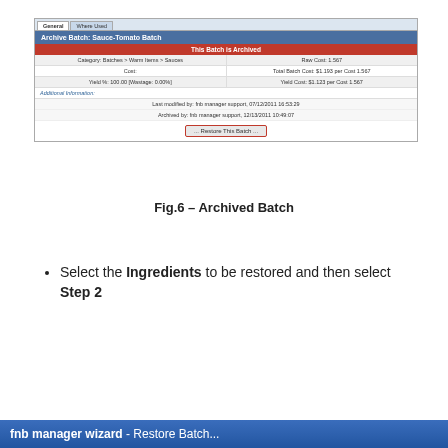[Figure (screenshot): Screenshot of an application showing 'Archive Batch: Sauce-Tomato Batch' page. Tabs at top: 'General' and 'Where Used'. A red banner says 'This Batch is Archived'. Info rows show Category, Cost, Yield, Raw Cost, Total Batch Cost, Yield Cost. Additional information section with Last modified and Archived by entries. A 'Restore This Batch...' button with red border.]
Fig.6 – Archived Batch
Select the Ingredients to be restored and then select Step 2
[Figure (screenshot): Bottom bar showing 'fnb manager wizard - Restore Batch...' in blue gradient background]